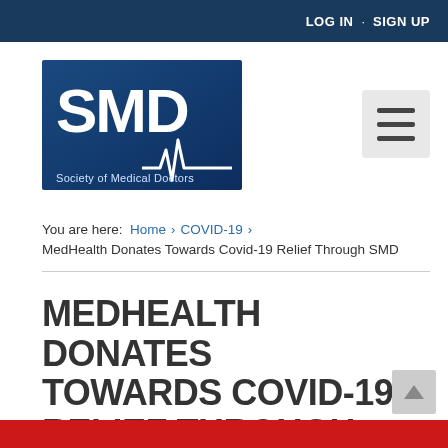LOG IN · SIGN UP
[Figure (logo): SMD - Society of Medical Doctors logo with blue background and heartbeat line]
You are here: Home › COVID-19 › MedHealth Donates Towards Covid-19 Relief Through SMD
MEDHEALTH DONATES TOWARDS COVID-19 RELIEF THROUGH SMD